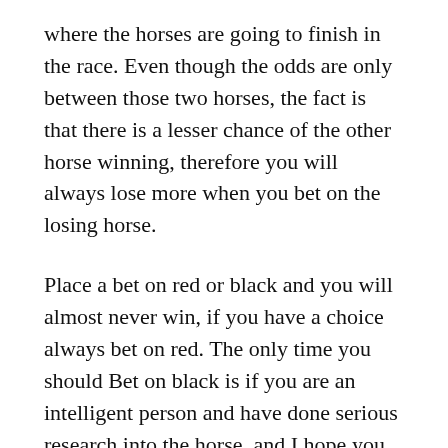where the horses are going to finish in the race. Even though the odds are only between those two horses, the fact is that there is a lesser chance of the other horse winning, therefore you will always lose more when you bet on the losing horse.
Place a bet on red or black and you will almost never win, if you have a choice always bet on red. The only time you should Bet on black is if you are an intelligent person and have done serious research into the horse, and I hope you have.
Practice these tips and you will win big when playing online roulette, and soon enough you'll